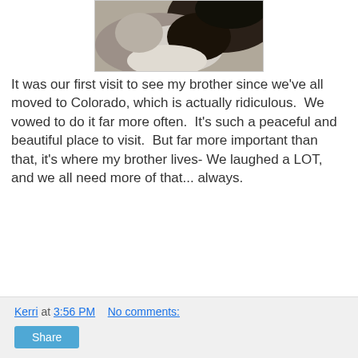[Figure (photo): Close-up photo of a cat's face/fur, appearing to show a black and white cat nestled against a light surface, taken from very close range.]
It was our first visit to see my brother since we've all moved to Colorado, which is actually ridiculous.  We vowed to do it far more often.  It's such a peaceful and beautiful place to visit.  But far more important than that, it's where my brother lives- We laughed a LOT, and we all need more of that... always.
Kerri at 3:56 PM    No comments:
Share